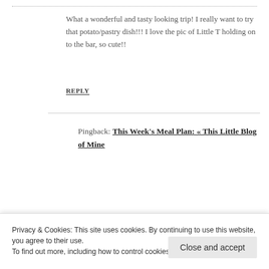What a wonderful and tasty looking trip! I really want to try that potato/pastry dish!!! I love the pic of Little T holding on to the bar, so cute!!
REPLY
Pingback: This Week's Meal Plan: « This Little Blog of Mine
LEAVE A REPLY
Privacy & Cookies: This site uses cookies. By continuing to use this website, you agree to their use. To find out more, including how to control cookies, see here: Cookie Policy